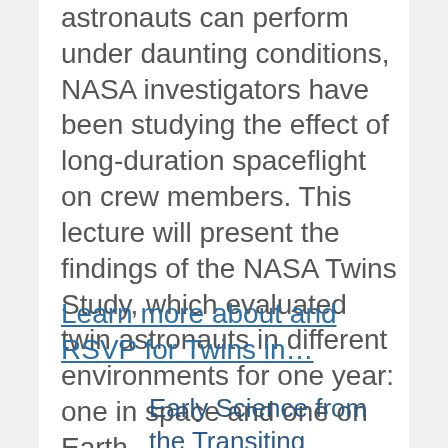astronauts can perform under daunting conditions, NASA investigators have been studying the effect of long-duration spaceflight on crew members. This lecture will present the findings of the NASA Twins Study, which evaluated twin astronauts in different environments for one year: one in space and one on Earth.
Learn more about and RSVP for Twins in…
Early Science from the Transiting Exoplanet Survey